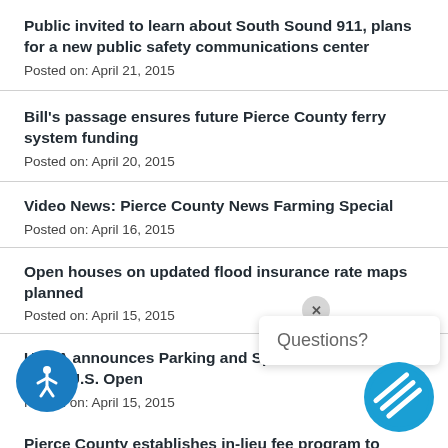Public invited to learn about South Sound 911, plans for a new public safety communications center
Posted on: April 21, 2015
Bill's passage ensures future Pierce County ferry system funding
Posted on: April 20, 2015
Video News: Pierce County News Farming Special
Posted on: April 16, 2015
Open houses on updated flood insurance rate maps planned
Posted on: April 15, 2015
USGA announces Parking and Spectator Gu... for 115th U.S. Open
Posted on: April 15, 2015
Pierce County establishes in-lieu fee program to